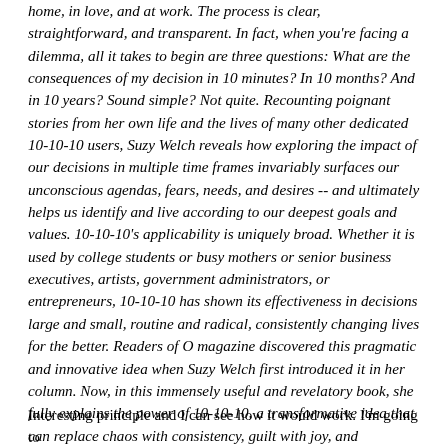home, in love, and at work. The process is clear, straightforward, and transparent. In fact, when you're facing a dilemma, all it takes to begin are three questions: What are the consequences of my decision in 10 minutes? In 10 months? And in 10 years? Sound simple? Not quite. Recounting poignant stories from her own life and the lives of many other dedicated 10-10-10 users, Suzy Welch reveals how exploring the impact of our decisions in multiple time frames invariably surfaces our unconscious agendas, fears, needs, and desires -- and ultimately helps us identify and live according to our deepest goals and values. 10-10-10's applicability is uniquely broad. Whether it is used by college students or busy mothers or senior business executives, artists, government administrators, or entrepreneurs, 10-10-10 has shown its effectiveness in decisions large and small, routine and radical, consistently changing lives for the better. Readers of O magazine discovered this pragmatic and innovative idea when Suzy Welch first introduced it in her column. Now, in this immensely useful and revelatory book, she fully explains the power of 10-10-10, a transformative idea that can replace chaos with consistency, guilt with joy, and confusion with clarity.
Interesting principle and I can see how it would work. I'm going to